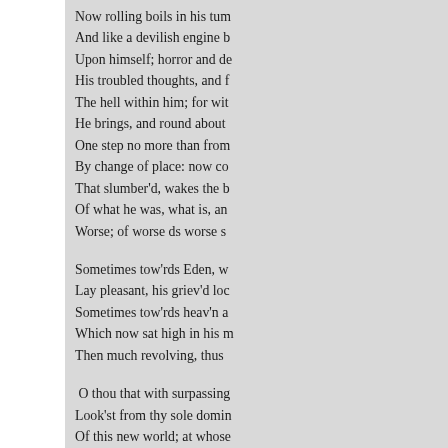Now rolling boils in his tum
And like a devilish engine b
Upon himself; horror and de
His troubled thoughts, and f
The hell within him; for wit
He brings, and round about
One step no more than from
By change of place: now co
That slumber'd, wakes the b
Of what he was, what is, an
Worse; of worse ds worse s

Sometimes tow'rds Eden, w
Lay pleasant, his griev'd loc
Sometimes tow'rds heav'n a
Which now sat high in his m
Then much revolving, thus

 O thou that with surpassing
Look'st from thy sole domin
Of this new world; at whose
Hide their diminish'd heads;
But with no friendly voice,
O Sun, to tell thee how I ha